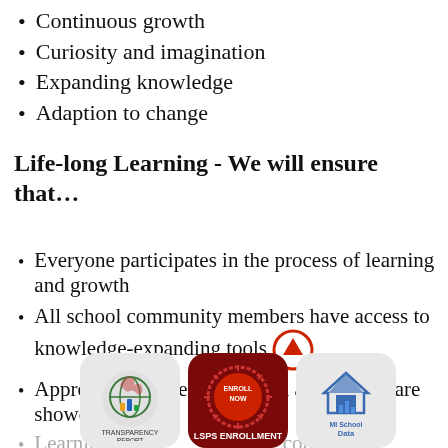Continuous growth
Curiosity and imagination
Expanding knowledge
Adaption to change
Life-long Learning - We will ensure that…
Everyone participates in the process of learning and growth
All school community members have access to knowledge-expanding tools
Appropriate models of growth and change are showcased
Learning resources about the community
[Figure (logo): Three logos at bottom: Michigan transparency report logo, LSPS Enrollment logo (red with stamp), MI School Data logo]